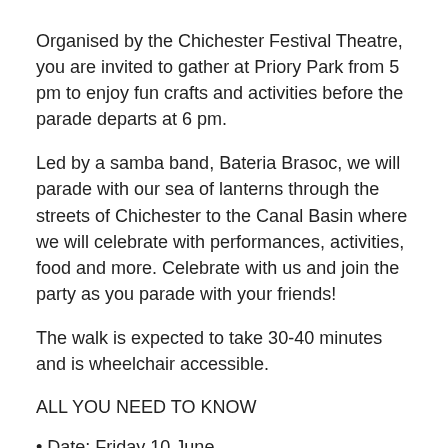Organised by the Chichester Festival Theatre, you are invited to gather at Priory Park from 5 pm to enjoy fun crafts and activities before the parade departs at 6 pm.
Led by a samba band, Bateria Brasoc, we will parade with our sea of lanterns through the streets of Chichester to the Canal Basin where we will celebrate with performances, activities, food and more. Celebrate with us and join the party as you parade with your friends!
The walk is expected to take 30-40 minutes and is wheelchair accessible.
ALL YOU NEED TO KNOW
• Date: Friday 10 June
• Time: Meet at Priory Park from 5 pm; Carnival will leave at 6 pm and you can join the party at any point along the